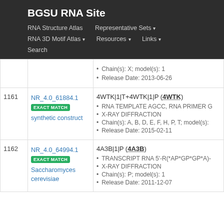BGSU RNA Site
RNA Structure Atlas | Representative Sets ▾ | RNA 3D Motif Atlas ▾ | Resources ▾ | Links ▾ | Search
| # | ID | Details |
| --- | --- | --- |
|  |  | Chain(s): X; model(s): 1
Release Date: 2013-06-26 |
| 1161 | NR_4.0_61884.1
EXACT MATCH
synthetic construct | 4WTK|1|T+4WTK|1|P (4WTK)
• RNA TEMPLATE AGCC, RNA PRIMER G
• X-RAY DIFFRACTION
• Chain(s): A, B, D, E, F, H, P, T; model(s):
• Release Date: 2015-02-11 |
| 1162 | NR_4.0_64994.1
EXACT MATCH
Saccharomyces cerevisiae | 4A3B|1|P (4A3B)
• TRANSCRIPT RNA 5'-R(*AP*GP*GP*A)-
• X-RAY DIFFRACTION
• Chain(s): P; model(s): 1
• Release Date: 2011-12-07 |